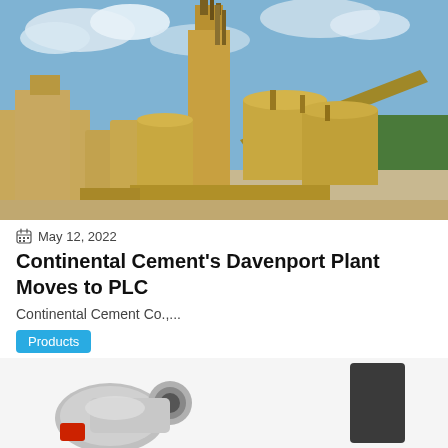[Figure (photo): Aerial view of Continental Cement's Davenport Plant, showing large tan/beige industrial silos and towers with a river and green trees in the background under a blue sky with clouds.]
May 12, 2022
Continental Cement's Davenport Plant Moves to PLC
Continental Cement Co.,...
Products
[Figure (photo): Close-up photo of industrial mechanical components — appears to show metallic fittings or connectors, with a red element and a dark rectangular piece visible.]